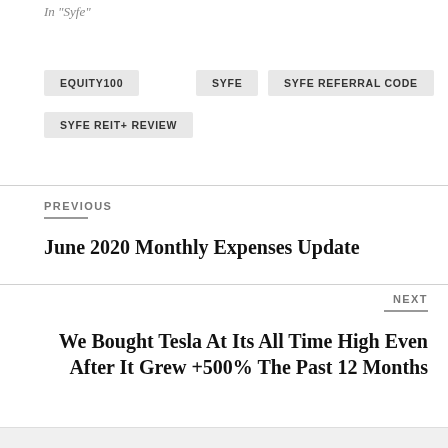In "Syfe"
EQUITY100
SYFE
SYFE REFERRAL CODE
SYFE REIT+ REVIEW
PREVIOUS
June 2020 Monthly Expenses Update
NEXT
We Bought Tesla At Its All Time High Even After It Grew +500% The Past 12 Months